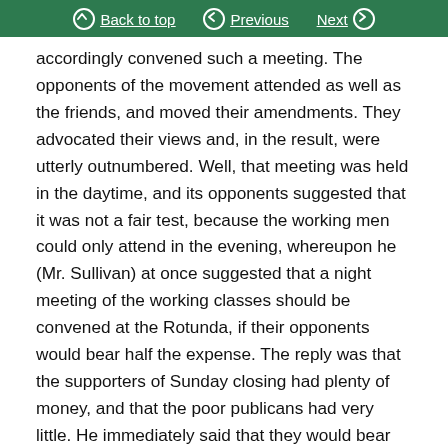Back to top | Previous | Next
accordingly convened such a meeting. The opponents of the movement attended as well as the friends, and moved their amendments. They advocated their views and, in the result, were utterly outnumbered. Well, that meeting was held in the daytime, and its opponents suggested that it was not a fair test, because the working men could only attend in the evening, whereupon he (Mr. Sullivan) at once suggested that a night meeting of the working classes should be convened at the Rotunda, if their opponents would bear half the expense. The reply was that the supporters of Sunday closing had plenty of money, and that the poor publicans had very little. He immediately said that they would bear all the expenses, and a night meeting was convened at the Mechanics' Institute,